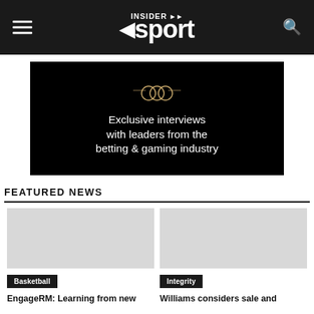INSIDER SPORT
[Figure (illustration): Advertisement banner with Mastercard-style overlapping rings logo and text: Exclusive interviews with leaders from the betting & gaming industry]
FEATURED NEWS
[Figure (photo): Placeholder image for basketball news article]
Basketball
EngageRM: Learning from new
[Figure (photo): Placeholder image for integrity news article]
Integrity
Williams considers sale and